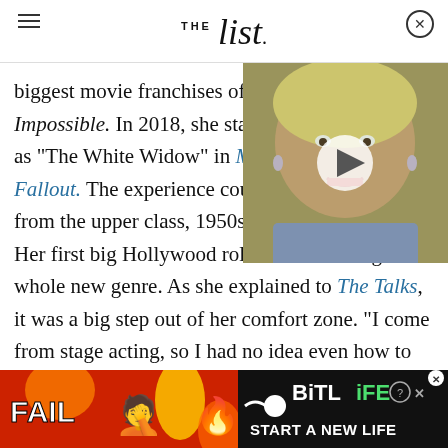THE List
biggest movie franchises of a... Impossible. In 2018, she starred as "The White Widow" in Mission: Impossible – Fallout. The experience could not have been more different from the upper class, 1950s world of The Crown. Her first big Hollywood role saw her taking on a whole new genre. As she explained to The Talks, it was a big step out of her comfort zone. "I come from stage acting, so I had no idea even how to even do that world. It was really scary and challenging," she said.
[Figure (photo): Video thumbnail showing an older blonde woman smiling, with a play button overlay]
[Figure (photo): Advertisement banner for BitLife game featuring FAIL text, emoji characters, flames, and a 'START A NEW LIFE' call to action on a red background]